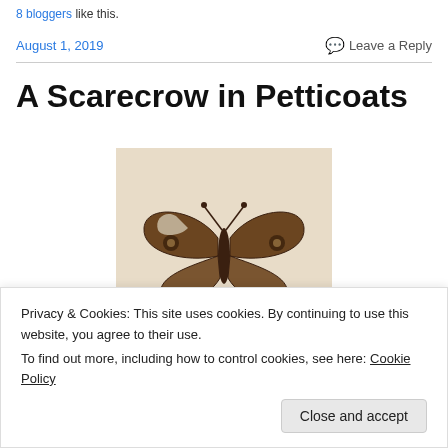8 bloggers like this.
August 1, 2019   Leave a Reply
A Scarecrow in Petticoats
[Figure (photo): Sepia-toned vintage illustration of a butterfly with detailed wing patterns on a cream background]
Privacy & Cookies: This site uses cookies. By continuing to use this website, you agree to their use. To find out more, including how to control cookies, see here: Cookie Policy
Close and accept